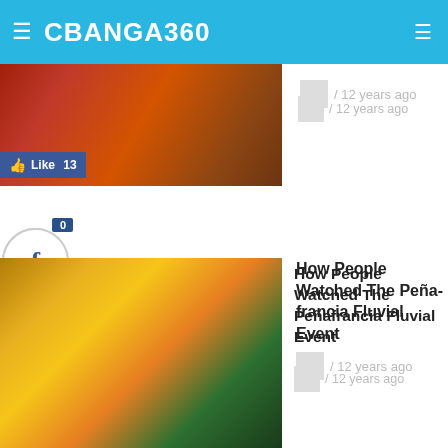CBANGA360
[Figure (photo): Food or street vendor photo thumbnail]
/ 12 years ago
[Figure (photo): Peñafrancia festival event photo with masks and decorations]
How People Watched The Peñafrancia Fluvial Event
/ 12 years ago
[Figure (photo): Devotees gathering near domed church for Peñafrancia Fluvial Procession]
Devotees Await Peñafrancia Fluvial Procession
/ 12 years ago
[Figure (photo): Voyadores photo for Peñafrancia article]
Voyadores Adds Color To Peñafrancia